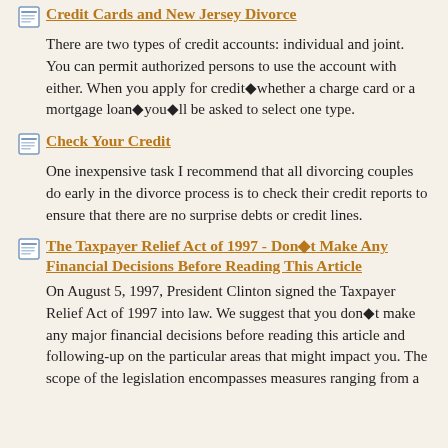Credit Cards and New Jersey Divorce
There are two types of credit accounts: individual and joint. You can permit authorized persons to use the account with either. When you apply for credit◆whether a charge card or a mortgage loan◆you◆ll be asked to select one type.
Check Your Credit
One inexpensive task I recommend that all divorcing couples do early in the divorce process is to check their credit reports to ensure that there are no surprise debts or credit lines.
The Taxpayer Relief Act of 1997 - Don◆t Make Any Financial Decisions Before Reading This Article
On August 5, 1997, President Clinton signed the Taxpayer Relief Act of 1997 into law. We suggest that you don◆t make any major financial decisions before reading this article and following-up on the particular areas that might impact you. The scope of the legislation encompasses measures ranging from a